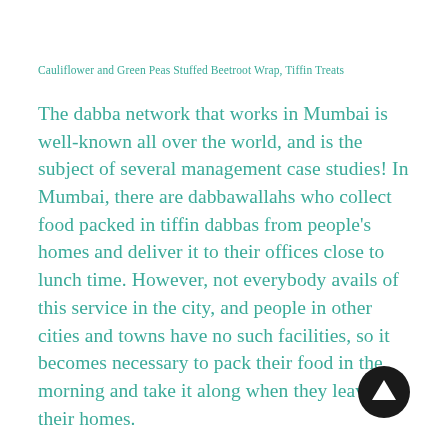Cauliflower and Green Peas Stuffed Beetroot Wrap, Tiffin Treats
The dabba network that works in Mumbai is well-known all over the world, and is the subject of several management case studies! In Mumbai, there are dabbawallahs who collect food packed in tiffin dabbas from people’s homes and deliver it to their offices close to lunch time. However, not everybody avails of this service in the city, and people in other cities and towns have no such facilities, so it becomes necessary to pack their food in the morning and take it along when they leave their homes.